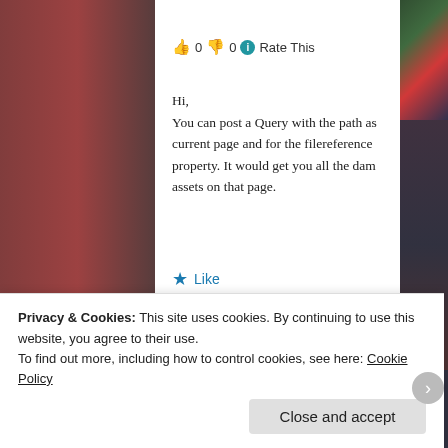👍 0 👎 0 ℹ Rate This
Hi,
You can post a Query with the path as current page and for the filereference property. It would get you all the dam assets on that page.
★ Like
Log in to Reply
Vikash Kumar
September 21, 2016 at 7:01 am
Privacy & Cookies: This site uses cookies. By continuing to use this website, you agree to their use.
To find out more, including how to control cookies, see here: Cookie Policy
Close and accept